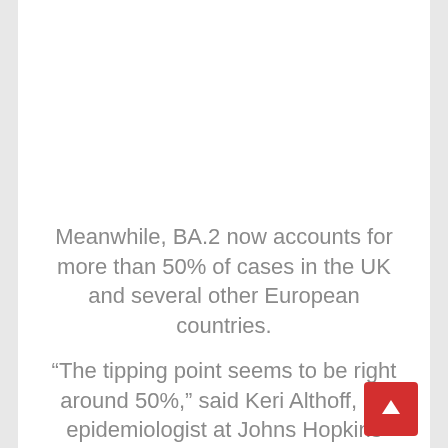Meanwhile, BA.2 now accounts for more than 50% of cases in the UK and several other European countries.
“The tipping point seems to be right around 50%,” said Keri Althoff, an epidemiologist at Johns Hopkins Bloomberg School of Public Health. “The tipping point seems to be right stat